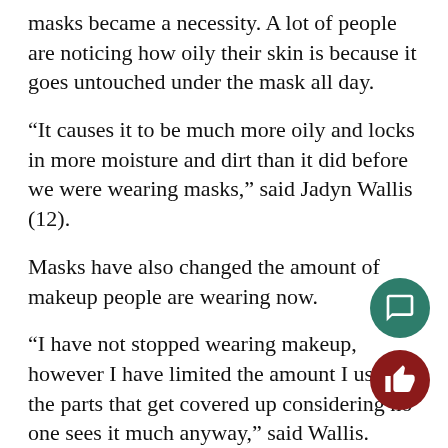masks became a necessity. A lot of people are noticing how oily their skin is because it goes untouched under the mask all day.
“It causes it to be much more oily and locks in more moisture and dirt than it did before we were wearing masks,” said Jadyn Wallis (12).
Masks have also changed the amount of makeup people are wearing now.
“I have not stopped wearing makeup, however I have limited the amount I use on the parts that get covered up considering no one sees it much anyway,” said Wallis.
Without properly cleansing, it can be hard to remove all makeup at the end of the day. This leftover makeup can soak into the pores and cause damage to the skin, such as breakouts